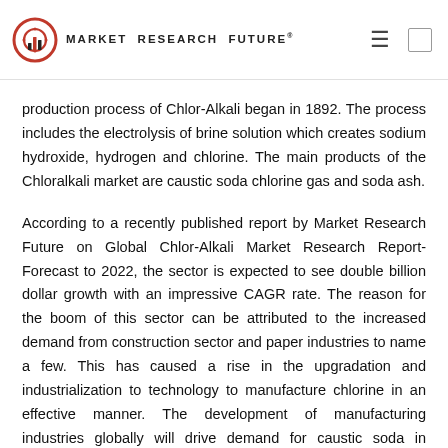MARKET RESEARCH FUTURE®
production process of Chlor-Alkali began in 1892. The process includes the electrolysis of brine solution which creates sodium hydroxide, hydrogen and chlorine. The main products of the Chloralkali market are caustic soda chlorine gas and soda ash.
According to a recently published report by Market Research Future on Global Chlor-Alkali Market Research Report- Forecast to 2022, the sector is expected to see double billion dollar growth with an impressive CAGR rate. The reason for the boom of this sector can be attributed to the increased demand from construction sector and paper industries to name a few. This has caused a rise in the upgradation and industrialization to technology to manufacture chlorine in an effective manner. The development of manufacturing industries globally will drive demand for caustic soda in alumina and chemical market. The growing demand for plastic paints, elastomers are a few of the factors driving the market of chlorine product in Chlor-Alkali